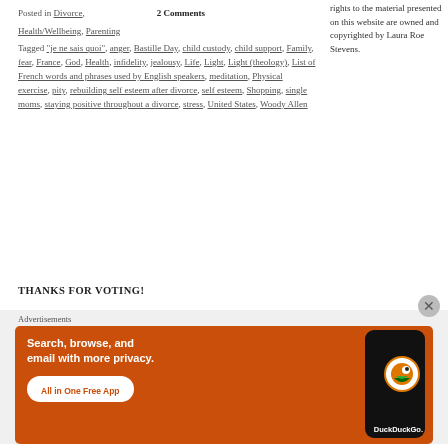Posted in Divorce, Health/Wellbeing, Parenting   2 Comments
Tagged "je ne sais quoi", anger, Bastille Day, child custody, child support, Family, fear, France, God, Health, infidelity, jealousy, Life, Light, Light (theology), List of French words and phrases used by English speakers, meditation, Physical exercise, pity, rebuilding self esteem after divorce, self esteem, Shopping, single moms, staying positive throughout a divorce, stress, United States, Woody Allen
rights to the material presented on this website are owned and copyrighted by Laura Roe Stevens.
THANKS FOR VOTING!
[Figure (screenshot): DuckDuckGo advertisement banner: orange background with text 'Search, browse, and email with more privacy. All in One Free App' and DuckDuckGo logo with phone graphic]